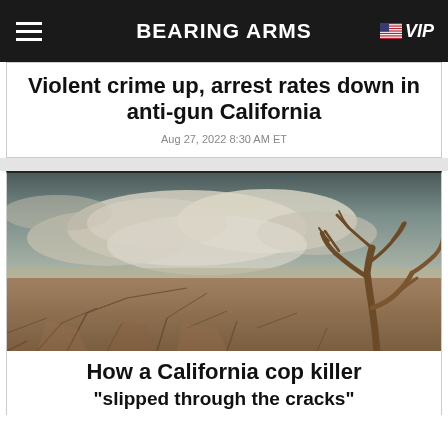BEARING ARMS | VIP
Violent crime up, arrest rates down in anti-gun California
Aug 27, 2022 8:30 AM ET
[Figure (photo): Cracked dry earth in a drought landscape with a dead bare tree on the right and dramatic cloudy sky above]
How a California cop killer "slipped through the cracks"